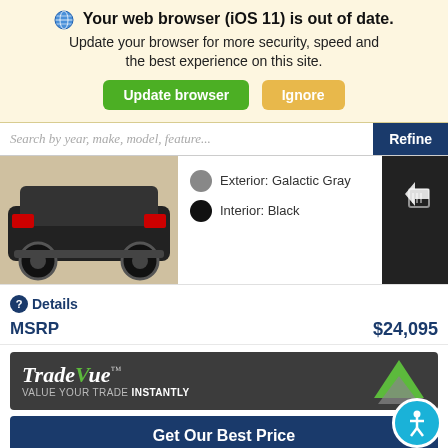Your web browser (iOS 11) is out of date. Update your browser for more security, speed and the best experience on this site.
Update browser
Ignore
Search by year, make, model, feature...
Refine
[Figure (photo): Partial view of a vehicle rear end on a beige background]
Exterior: Galactic Gray
Interior: Black
Details
MSRP $24,095
[Figure (logo): TradeVue - VALUE YOUR TRADE INSTANTLY banner with green triangle logo]
Get Our Best Price
Ask a Question